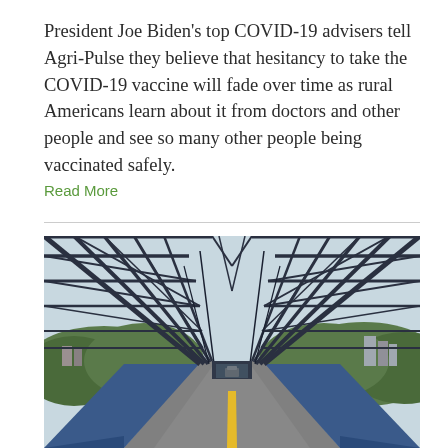President Joe Biden's top COVID-19 advisers tell Agri-Pulse they believe that hesitancy to take the COVID-19 vaccine will fade over time as rural Americans learn about it from doctors and other people and see so many other people being vaccinated safely.
Read More
[Figure (photo): View from inside a steel truss bridge looking through to the other end, with a road with yellow lane markings, blue painted side barriers, tree-covered hills in the background and a city skyline visible.]